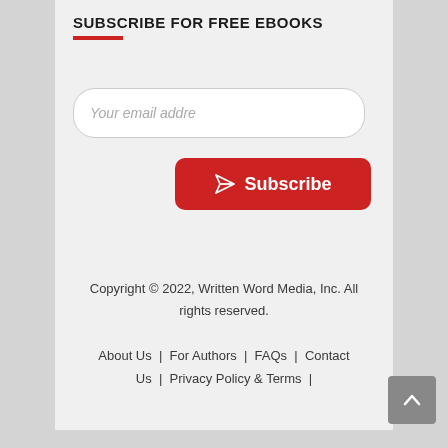SUBSCRIBE FOR FREE EBOOKS
[Figure (other): Email subscription input field with placeholder text 'Your email addre']
[Figure (other): Red Subscribe button with paper airplane icon]
Copyright © 2022, Written Word Media, Inc. All rights reserved.
About Us  |  For Authors  |  FAQs  |  Contact Us  |  Privacy Policy & Terms  |